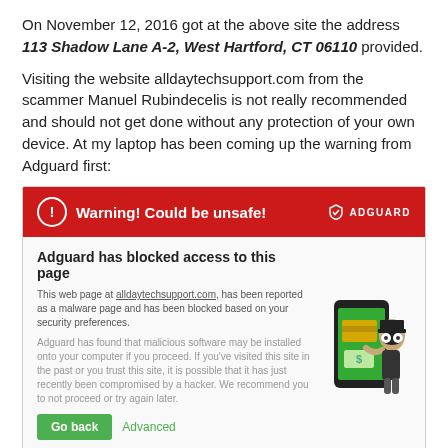On November 12, 2016 got at the above site the address 113 Shadow Lane A-2, West Hartford, CT 06110 provided.
Visiting the website alldaytechsupport.com from the scammer Manuel Rubindecelis is not really recommended and should not get done without any protection of your own device. At my laptop has been coming up the warning from Adguard first:
[Figure (screenshot): Adguard security warning screenshot showing red bar with 'Warning! Could be unsafe!' and blocked page message with robber illustration, Go back and Advanced buttons]
Web Of Trust WOT brought up a Warning!